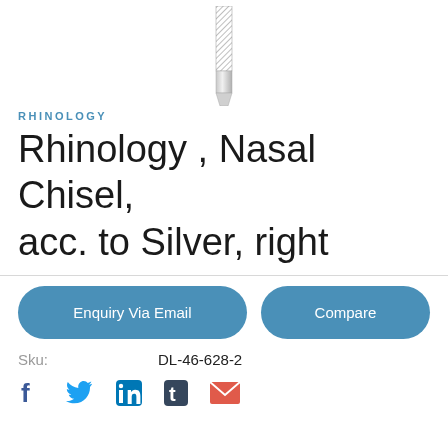[Figure (photo): Medical nasal chisel instrument, silver colored, shown vertically, partially visible from top]
RHINOLOGY
Rhinology , Nasal Chisel, acc. to Silver, right
Enquiry Via Email | Compare
Sku: DL-46-628-2
[Figure (infographic): Social media icons: Facebook, Twitter, LinkedIn, Tumblr, Email]